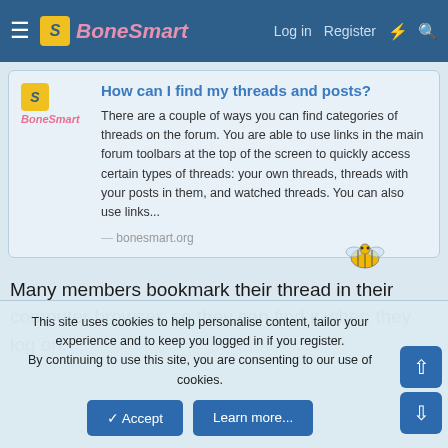BoneSmart — Log in  Register
How can I find my threads and posts?
There are a couple of ways you can find categories of threads on the forum. You are able to use links in the main forum toolbars at the top of the screen to quickly access certain types of threads: your own threads, threads with your posts in them, and watched threads. You can also use links...
bonesmart.org
Many members bookmark their thread in their computer browser, so they can find it when they log on.
This site uses cookies to help personalise content, tailor your experience and to keep you logged in if you register.
By continuing to use this site, you are consenting to our use of cookies.
✓ Accept
Learn more...